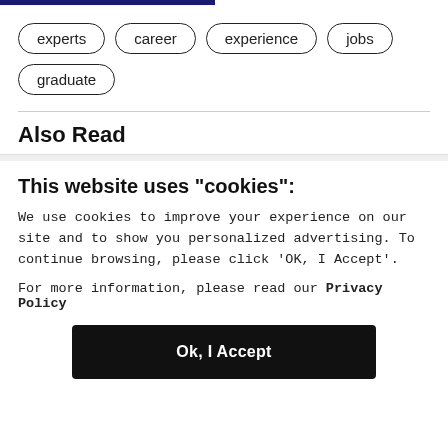experts
career
experience
jobs
graduate
Also Read
This website uses "cookies":
We use cookies to improve your experience on our site and to show you personalized advertising. To continue browsing, please click ‘OK, I Accept’.
For more information, please read our Privacy Policy
Ok, I Accept